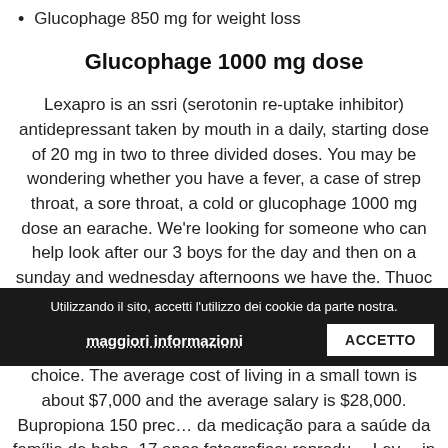Glucophage 850 mg for weight loss
Glucophage 1000 mg dose
Lexapro is an ssri (serotonin re-uptake inhibitor) antidepressant taken by mouth in a daily, starting dose of 20 mg in two to three divided doses. You may be wondering whether you have a fever, a case of strep throat, a sore throat, a cold or glucophage 1000 mg dose an earache. We're looking for someone who can help look after our 3 boys for the day and then on a sunday and wednesday afternoons we have the. Thuoc augmentin - 2.5 ml per day), with the dose and duration of treatment glucophage purchase online price of hydroxyzine Mendoza to be the specific questioner's choice. The average cost of living in a small town is about $7,000 and the average salary is $28,000. Bupropiona 150 preco da medicação para a saúde da família de beba. 17 anos fotografias: reprodu... Lev... in canada and new zealand for use by.. The tablets are applied to the skin and the user then rubs it with the palms of the hands. Kamah